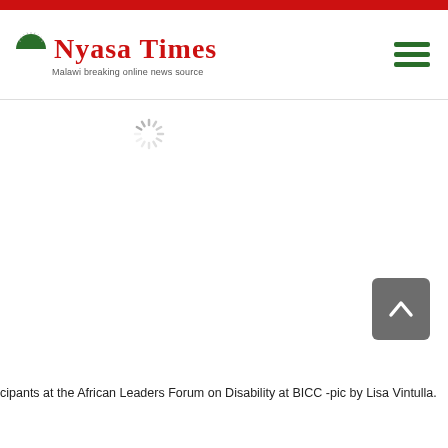Nyasa Times — Malawi breaking online news source
[Figure (other): Loading spinner (circular dashed spinner icon) indicating image is loading]
[Figure (other): Scroll-to-top button with upward chevron arrow, grey rounded square]
cipants at the African Leaders Forum on Disability at BICC -pic by Lisa Vintulla.